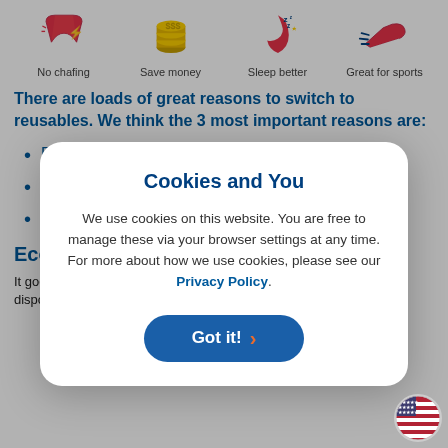[Figure (illustration): Four icons in a row: No chafing (red underwear with lightning bolt), Save money (stack of coins), Sleep better (crescent moon with zzz), Great for sports (running shoe with motion lines). Each icon has a label beneath it.]
There are loads of great reasons to switch to reusables. We think the 3 most important reasons are:
Better for the planet
Better for your pocket
B[etter for you]
Eco[...] are they[...]
It goes [...] to be better [...] disposable sanitary products should always be binned, n[ot flushed]
[Figure (infographic): Cookie consent modal dialog with title 'Cookies and You', body text about cookie usage with Privacy Policy link, and a 'Got it!' button with orange chevron. Overlaid on the page content.]
[Figure (illustration): US flag circular badge in bottom right corner]